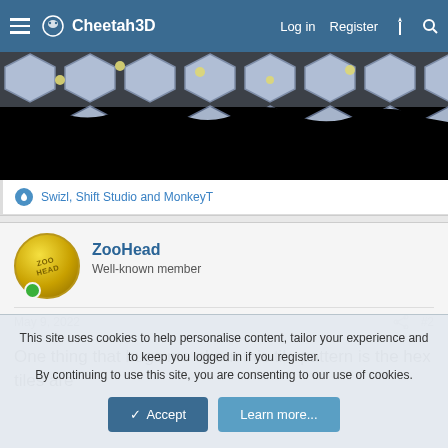Cheetah3D — Log in  Register
[Figure (screenshot): Dark render showing hexagonal tile pattern with pale blue/white tiles and yellow nodes on a black background, partially cropped at top]
Swizl, Shift Studio and MonkeyT
ZooHead
Well-known member
May 9, 2022  #2
One thing that bugs me about this tile pattern is the hex tiles are
This site uses cookies to help personalise content, tailor your experience and to keep you logged in if you register.
By continuing to use this site, you are consenting to our use of cookies.
Accept  Learn more...